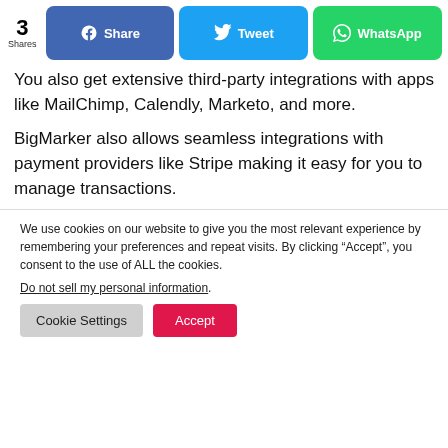3 Shares | Share | Tweet | WhatsApp
You also get extensive third-party integrations with apps like MailChimp, Calendly, Marketo, and more.
BigMarker also allows seamless integrations with payment providers like Stripe making it easy for you to manage transactions.
We use cookies on our website to give you the most relevant experience by remembering your preferences and repeat visits. By clicking “Accept”, you consent to the use of ALL the cookies.
Do not sell my personal information.
Cookie Settings | Accept